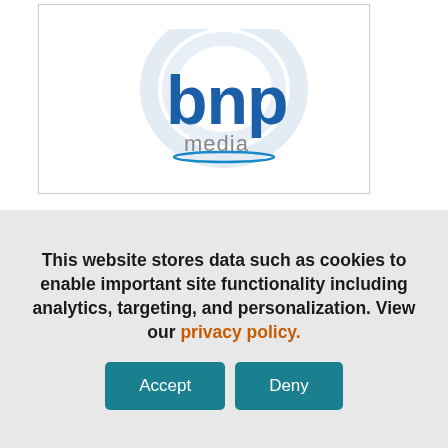[Figure (logo): BNP Media logo — blue 'bnp' text with gray 'media' text below, oval swoosh graphic behind, all inside a white box with thin border]
This website stores data such as cookies to enable important site functionality including analytics, targeting, and personalization. View our privacy policy.
Accept
Deny